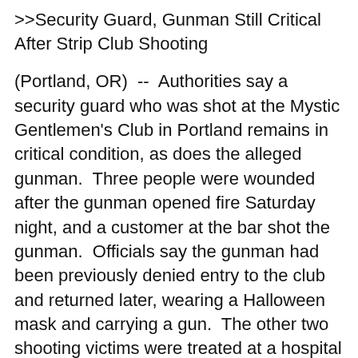>>Security Guard, Gunman Still Critical After Strip Club Shooting
(Portland, OR)  --  Authorities say a security guard who was shot at the Mystic Gentlemen's Club in Portland remains in critical condition, as does the alleged gunman.  Three people were wounded after the gunman opened fire Saturday night, and a customer at the bar shot the gunman.  Officials say the gunman had been previously denied entry to the club and returned later, wearing a Halloween mask and carrying a gun.  The other two shooting victims were treated at a hospital and released.
>>Huge Boulder Falls Onto I-84
(Hood River, OR)  --  Police say a boulder the size of a Volkswagen Beetle blocked traffic after falling and landing on Interstate 84 near Hood River.  No vehicles